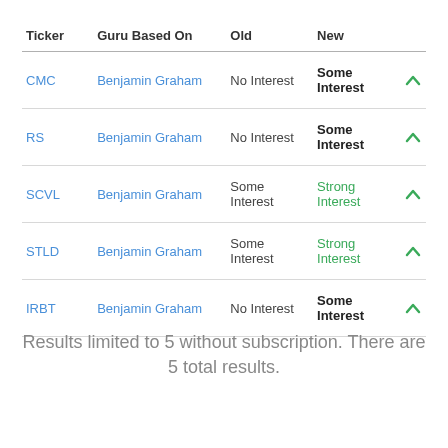| Ticker | Guru Based On | Old | New |  |
| --- | --- | --- | --- | --- |
| CMC | Benjamin Graham | No Interest | Some Interest | ↑ |
| RS | Benjamin Graham | No Interest | Some Interest | ↑ |
| SCVL | Benjamin Graham | Some Interest | Strong Interest | ↑ |
| STLD | Benjamin Graham | Some Interest | Strong Interest | ↑ |
| IRBT | Benjamin Graham | No Interest | Some Interest | ↑ |
Results limited to 5 without subscription. There are 5 total results.